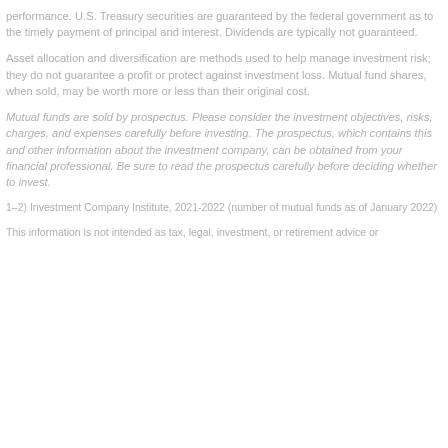performance. U.S. Treasury securities are guaranteed by the federal government as to the timely payment of principal and interest. Dividends are typically not guaranteed.
Asset allocation and diversification are methods used to help manage investment risk; they do not guarantee a profit or protect against investment loss. Mutual fund shares, when sold, may be worth more or less than their original cost.
Mutual funds are sold by prospectus. Please consider the investment objectives, risks, charges, and expenses carefully before investing. The prospectus, which contains this and other information about the investment company, can be obtained from your financial professional. Be sure to read the prospectus carefully before deciding whether to invest.
1–2) Investment Company Institute, 2021-2022 (number of mutual funds as of January 2022)
This information is not intended as tax, legal, investment, or retirement advice or